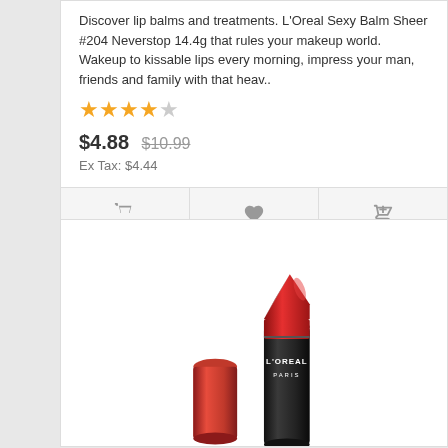Discover lip balms and treatments. L'Oreal Sexy Balm Sheer #204 Neverstop 14.4g that rules your makeup world. Wakeup to kissable lips every morning, impress your man, friends and family with that heav..
[Figure (other): Star rating: 4 out of 5 stars]
$4.88  $10.99
Ex Tax: $4.44
[Figure (other): Action bar with cart, wishlist, and compare icons]
[Figure (photo): L'Oreal Paris lipstick product photo showing a black tube lipstick with red tip and a separate red cap, on white background]